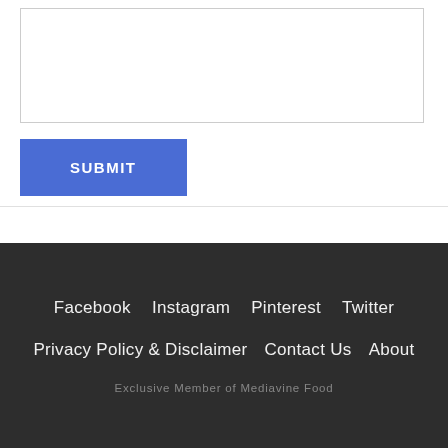[textarea input box]
SUBMIT
Facebook   Instagram   Pinterest   Twitter
Privacy Policy & Disclaimer   Contact Us   About
Exclusive Member of Mediavine Food